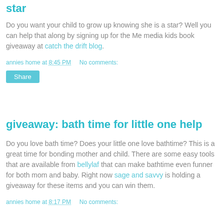star
Do you want your child to grow up knowing she is a star? Well you can help that along by signing up for the Me media kids book giveaway at catch the drift blog.
annies home at 8:45 PM    No comments:
Share
giveaway: bath time for little one help
Do you love bath time? Does your little one love bathtime? This is a great time for bonding mother and child. There are some easy tools that are available from bellylaf that can make bathtime even funner for both mom and baby. Right now sage and savvy is holding a giveaway for these items and you can win them.
annies home at 8:17 PM    No comments: